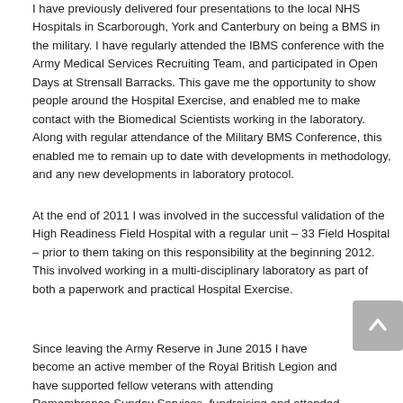I have previously delivered four presentations to the local NHS Hospitals in Scarborough, York and Canterbury on being a BMS in the military. I have regularly attended the IBMS conference with the Army Medical Services Recruiting Team, and participated in Open Days at Strensall Barracks. This gave me the opportunity to show people around the Hospital Exercise, and enabled me to make contact with the Biomedical Scientists working in the laboratory. Along with regular attendance of the Military BMS Conference, this enabled me to remain up to date with developments in methodology, and any new developments in laboratory protocol.
At the end of 2011 I was involved in the successful validation of the High Readiness Field Hospital with a regular unit – 33 Field Hospital – prior to them taking on this responsibility at the beginning 2012. This involved working in a multi-disciplinary laboratory as part of both a paperwork and practical Hospital Exercise.
Since leaving the Army Reserve in June 2015 I have become an active member of the Royal British Legion and have supported fellow veterans with attending Remembrance Sunday Services, fundraising and attended the Annual RAMC Carol Concert in